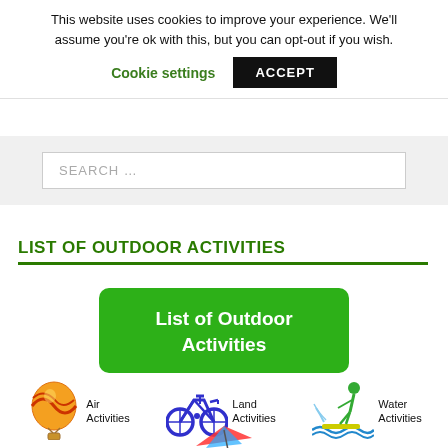This website uses cookies to improve your experience. We'll assume you're ok with this, but you can opt-out if you wish.
Cookie settings
ACCEPT
SEARCH …
LIST OF OUTDOOR ACTIVITIES
List of Outdoor Activities
[Figure (illustration): Hot air balloon icon for Air Activities]
Air Activities
[Figure (illustration): Bicycle icon for Land Activities]
Land Activities
[Figure (illustration): Water sport / wakeboarding icon for Water Activities]
Water Activities
[Figure (illustration): Partial icon at bottom — Wind/Winter activities, partially cut off]